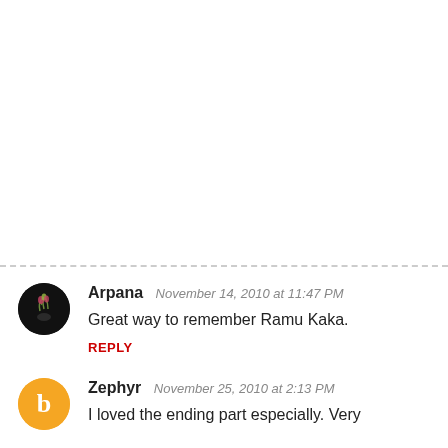Arpana  November 14, 2010 at 11:47 PM
Great way to remember Ramu Kaka.
REPLY
Zephyr  November 25, 2010 at 2:13 PM
I loved the ending part especially. Very